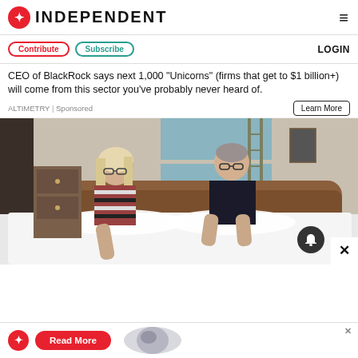INDEPENDENT
Contribute  Subscribe  LOGIN
CEO of BlackRock says next 1,000 "Unicorns" (firms that get to $1 billion+) will come from this sector you've probably never heard of.
ALTIMETRY | Sponsored
[Figure (photo): An older couple standing next to a double bed with a white duvet in a bedroom with wooden headboard]
[Figure (logo): Independent newspaper logo with red and white eagle icon and Read More button on bottom banner ad]